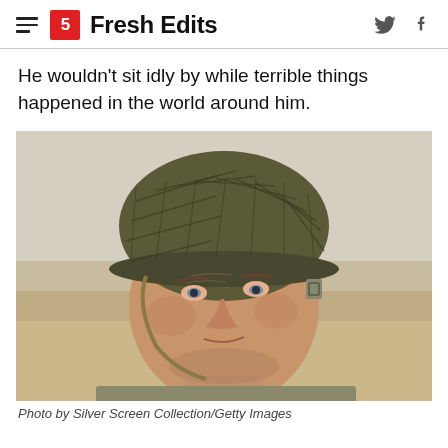Fresh Edits
He wouldn't sit idly by while terrible things happened in the world around him.
[Figure (photo): Close-up photo of a man wearing a military helmet with netting, looking slightly upward, wearing an olive-colored jacket. Background appears to be an outdoor, overcast setting.]
Photo by Silver Screen Collection/Getty Images